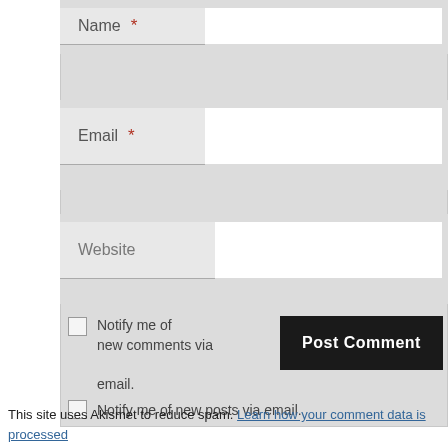[Figure (screenshot): Web comment form with Name, Email, Website fields, checkboxes for email notifications, and a Post Comment button]
This site uses Akismet to reduce spam. Learn how your comment data is processed